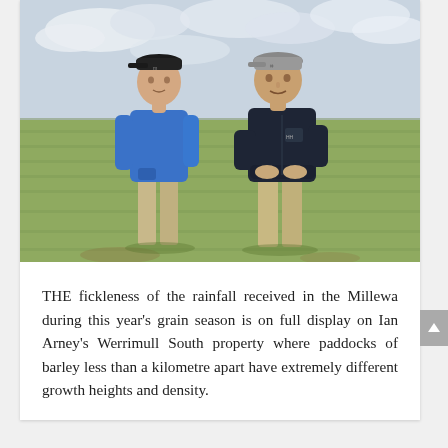[Figure (photo): Two men standing in a green barley field under a cloudy sky. The younger man on the left wears a blue hoodie, black cap, and khaki pants. The older man on the right wears a dark navy hoodie, grey Under Armour cap, and khaki pants.]
THE fickleness of the rainfall received in the Millewa during this year's grain season is on full display on Ian Arney's Werrimull South property where paddocks of barley less than a kilometre apart have extremely different growth heights and density.